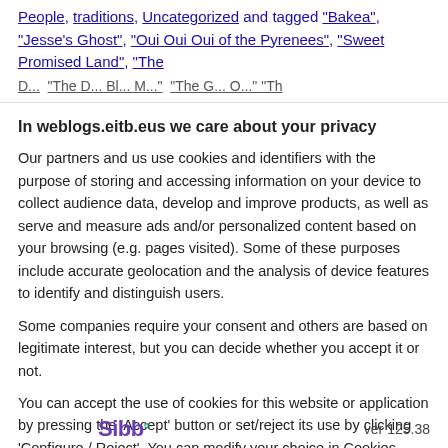People, traditions, Uncategorized and tagged "Bakea", "Jesse's Ghost", "Oui Oui Oui of the Pyrenees", "Sweet Promised Land", "The ...
In weblogs.eitb.eus we care about your privacy
Our partners and us use cookies and identifiers with the purpose of storing and accessing information on your device to collect audience data, develop and improve products, as well as serve and measure ads and/or personalized content based on your browsing (e.g. pages visited). Some of these purposes include accurate geolocation and the analysis of device features to identify and distinguish users.
Some companies require your consent and others are based on legitimate interest, but you can decide whether you accept it or not.
You can accept the use of cookies for this website or application by pressing the 'Accept' button or set/reject its use by clicking 'Configure / Reject'. You can modify your choice in Cookies Privacy Settings. More Info. Cookie policy.
Accept
More options
See list of partners
Sibb° ver 125.38